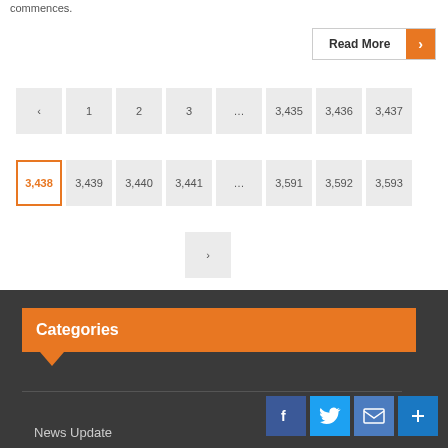commences.
Read More →
< 1 2 3 ... 3,435 3,436 3,437
3,438 3,439 3,440 3,441 ... 3,591 3,592 3,593
>
Categories
News Update